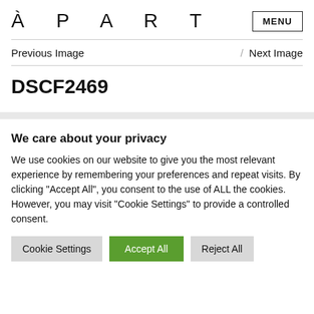À P A R T   MENU
Previous Image / Next Image
DSCF2469
We care about your privacy
We use cookies on our website to give you the most relevant experience by remembering your preferences and repeat visits. By clicking "Accept All", you consent to the use of ALL the cookies. However, you may visit "Cookie Settings" to provide a controlled consent.
Cookie Settings | Accept All | Reject All